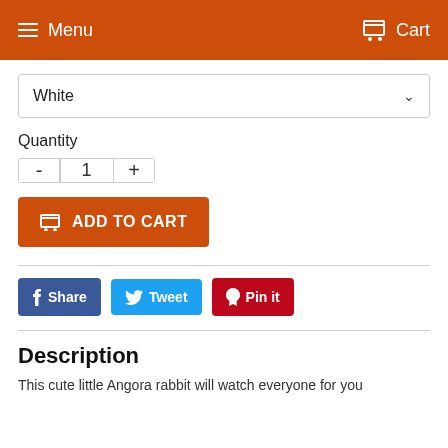Menu  Cart
White
Quantity
1
ADD TO CART
Share  Tweet  Pin it
Description
This cute little Angora rabbit will watch everyone for you